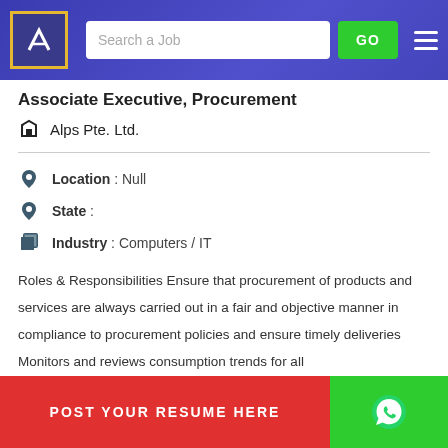[Figure (screenshot): Job portal navigation bar with logo, search field, GO button, and hamburger menu]
Associate Executive, Procurement
Alps Pte. Ltd.
Location : Null
State :
Industry : Computers / IT
Roles & Responsibilities Ensure that procurement of products and services are always carried out in a fair and objective manner in compliance to procurement policies and ensure timely deliveries Monitors and reviews consumption trends for all
[Figure (screenshot): POST YOUR RESUME HERE red button and WhatsApp green button at the bottom]